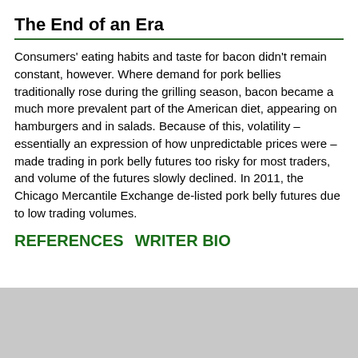The End of an Era
Consumers' eating habits and taste for bacon didn't remain constant, however. Where demand for pork bellies traditionally rose during the grilling season, bacon became a much more prevalent part of the American diet, appearing on hamburgers and in salads. Because of this, volatility – essentially an expression of how unpredictable prices were – made trading in pork belly futures too risky for most traders, and volume of the futures slowly declined. In 2011, the Chicago Mercantile Exchange de-listed pork belly futures due to low trading volumes.
REFERENCES   WRITER BIO